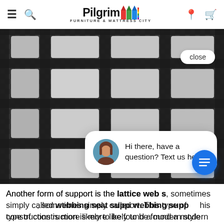Pilgrim Furniture & Mattress City — navigation header
[Figure (photo): Close-up photo of lattice/webbing seat support construction on a sofa, showing a dark woven grid pattern with light grey rectangular padding sections. A chat popup overlay is visible showing a female avatar with the message 'Hi there, have a question? Text us here.' and a close button.]
Another form of support is the lattice web support, sometimes simply called webbing seat support. This type of construction is more likely to be found a modern style sofa as it features a slighter build